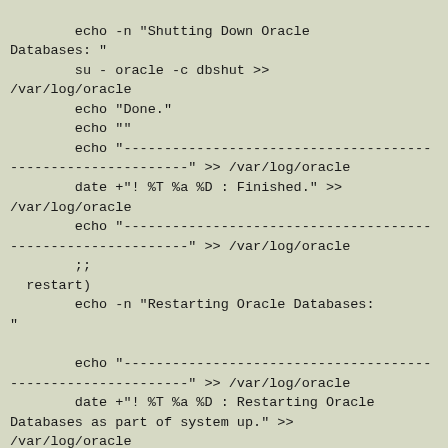echo -n "Shutting Down Oracle
Databases: "
        su - oracle -c dbshut >>
/var/log/oracle
        echo "Done."
        echo ""
        echo "--------------------------------------------
------------------------" >> /var/log/oracle
        date +"! %T %a %D : Finished." >>
/var/log/oracle
        echo "--------------------------------------------
------------------------" >> /var/log/oracle
        ;;
  restart)
        echo -n "Restarting Oracle Databases:
"

        echo "--------------------------------------------
------------------------" >> /var/log/oracle
        date +"! %T %a %D : Restarting Oracle
Databases as part of system up." >>
/var/log/oracle
        echo "--------------------------------------------
------------------------" >> /var/log/oracle
        su - oracle -c dbstop >>
/var/log/oracle
        su - oracle -c dbstart >>
/var/log/oracle
        echo "Done."